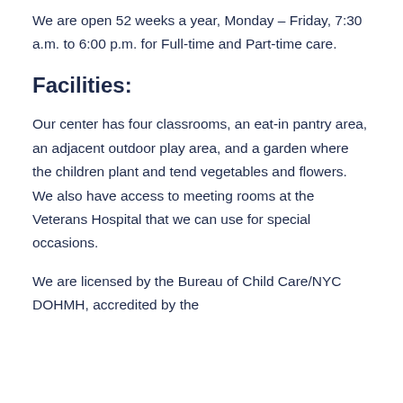We are open 52 weeks a year, Monday – Friday, 7:30 a.m. to 6:00 p.m. for Full-time and Part-time care.
Facilities:
Our center has four classrooms, an eat-in pantry area, an adjacent outdoor play area, and a garden where the children plant and tend vegetables and flowers. We also have access to meeting rooms at the Veterans Hospital that we can use for special occasions.
We are licensed by the Bureau of Child Care/NYC DOHMH, accredited by the